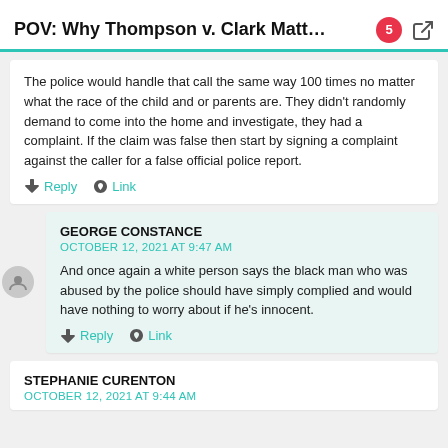POV: Why Thompson v. Clark Matters for ...
The police would handle that call the same way 100 times no matter what the race of the child and or parents are. They didn't randomly demand to come into the home and investigate, they had a complaint. If the claim was false then start by signing a complaint against the caller for a false official police report.
Reply | Link
GEORGE CONSTANCE
OCTOBER 12, 2021 AT 9:47 AM
And once again a white person says the black man who was abused by the police should have simply complied and would have nothing to worry about if he's innocent.
Reply | Link
STEPHANIE CURENTON
OCTOBER 12, 2021 AT 9:44 AM